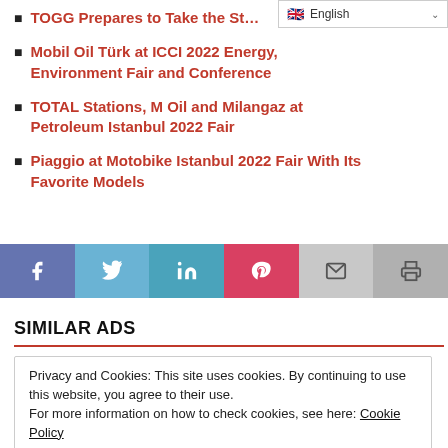TOGG Prepares to Take the St…
Mobil Oil Türk at ICCI 2022 Energy, Environment Fair and Conference
TOTAL Stations, M Oil and Milangaz at Petroleum Istanbul 2022 Fair
Piaggio at Motobike Istanbul 2022 Fair With Its Favorite Models
[Figure (infographic): Social media share bar with Facebook, Twitter, LinkedIn, Pinterest, Email, and Print buttons]
SIMILAR ADS
Privacy and Cookies: This site uses cookies. By continuing to use this website, you agree to their use.
For more information on how to check cookies, see here: Cookie Policy
OK